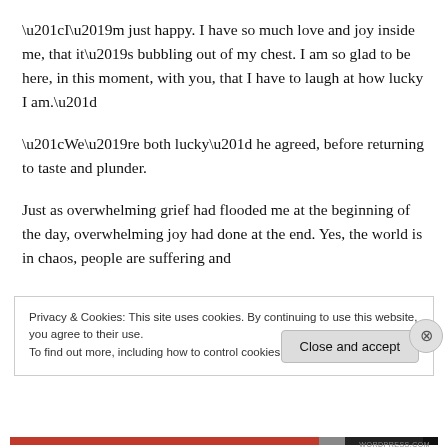“I’m just happy. I have so much love and joy inside me, that it’s bubbling out of my chest. I am so glad to be here, in this moment, with you, that I have to laugh at how lucky I am.”
“We’re both lucky” he agreed, before returning to taste and plunder.
Just as overwhelming grief had flooded me at the beginning of the day, overwhelming joy had done at the end. Yes, the world is in chaos, people are suffering and
Privacy & Cookies: This site uses cookies. By continuing to use this website, you agree to their use.
To find out more, including how to control cookies, see here: Cookie Policy
Close and accept
WORDPRESS.COM